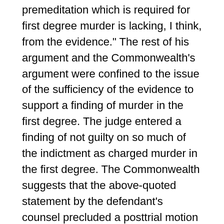premeditation which is required for first degree murder is lacking, I think, from the evidence." The rest of his argument and the Commonwealth's argument were confined to the issue of the sufficiency of the evidence to support a finding of murder in the first degree. The judge entered a finding of not guilty on so much of the indictment as charged murder in the first degree. The Commonwealth suggests that the above-quoted statement by the defendant's counsel precluded a posttrial motion as to the lesser included offenses.
The Commonwealth fails, however, to cite any authority or give any reason in support of its contention. The Commonwealth has not complied with the requirements of Mass. R. A. P. 16 (a) (4), as amended, 367 Mass. 919 (1975). Defense counsel's statement clearly withdrew from the judge's consideration the defendant's